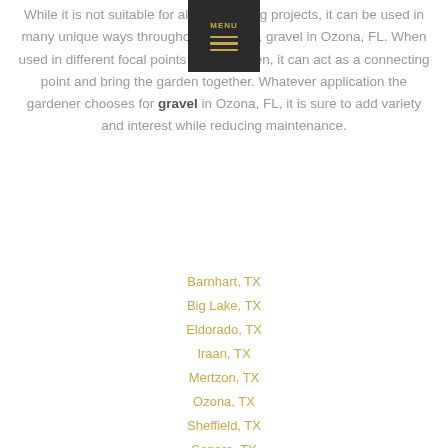While it is not suitable for all landscaping projects, it can be used in many unique ways throughout a garden. gravel in Ozona, FL. When used in different focal points of the garden, it can act as a connecting point and bring the garden together. Whatever application the gardener chooses for gravel in Ozona, FL, it is sure to add variety and interest while reducing maintenance.
Barnhart, TX
Big Lake, TX
Eldorado, TX
Iraan, TX
Mertzon, TX
Ozona, TX
Sheffield, TX
Sonora, TX